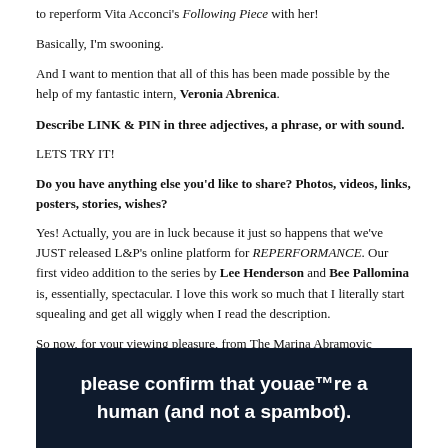to reperform Vita Acconci's Following Piece with her!
Basically, I'm swooning.
And I want to mention that all of this has been made possible by the help of my fantastic intern, Veronia Abrenica.
Describe LINK & PIN in three adjectives, a phrase, or with sound.
LETS TRY IT!
Do you have anything else you'd like to share? Photos, videos, links, posters, stories, wishes?
Yes! Actually, you are in luck because it just so happens that we've JUST released L&P's online platform for REPERFORMANCE. Our first video addition to the series by Lee Henderson and Bee Pallomina is, essentially, spectacular. I love this work so much that I literally start squealing and get all wiggly when I read the description.
So now, for your viewing pleasure, from The Marina Abramovic Institute Department of Puppets presents Relation in Time:
[Figure (screenshot): Dark navy blue video overlay with white bold text reading: please confirm that youae™re a human (and not a spambot).]